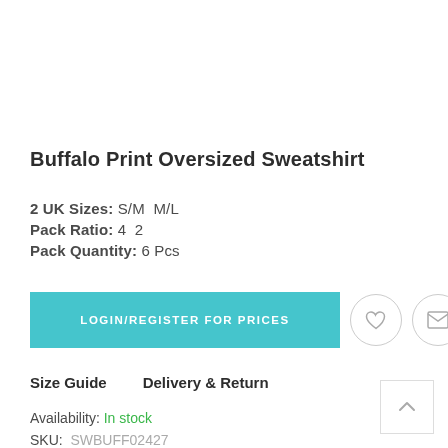Buffalo Print Oversized Sweatshirt
2 UK Sizes: S/M  M/L
Pack Ratio: 4  2
Pack Quantity: 6 Pcs
LOGIN/REGISTER FOR PRICES
Size Guide     Delivery & Return
Availability: In stock
SKU:  SWBUFF02427